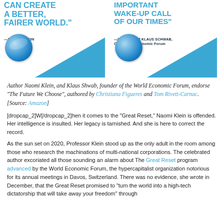[Figure (illustration): Two book advertisement panels side by side. Left panel: blue bold text quote 'CAN CREATE A BETTER, FAIRER WORLD.' attributed to Naomi Klein, with a globe illustration and blue triangle graphic. Right panel: blue bold text quote 'IMPORTANT WAKE-UP CALL OF OUR TIMES' attributed to Professor Klaus Schwab, CEO World Economic Forum, with globe and blue triangle.]
Author Naomi Klein, and Klaus Shwab, founder of the World Economic Forum, endorse “The Future We Choose”, authored by Christiana Figueres and Tom Rivett-Carnac. [Source: Amazon]
[dropcap_2]W[/dropcap_2]hen it comes to the “Great Reset,” Naomi Klein is offended. Her intelligence is insulted. Her legacy is tarnished. And she is here to correct the record.
As the sun set on 2020, Professor Klein stood up as the only adult in the room among those who research the machinations of multi-national corporations. The celebrated author excoriated all those sounding an alarm about The Great Reset program advanced by the World Economic Forum, the hypercapitalist organization notorious for its annual meetings in Davos, Switzerland. There was no evidence, she wrote in December, that the Great Reset promised to “turn the world into a high-tech dictatorship that will take away your freedom” through